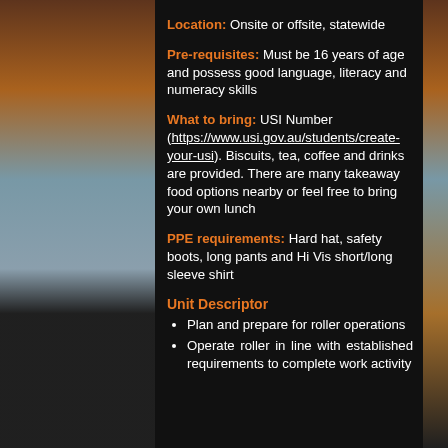Location: Onsite or offsite, statewide
Pre-requisites: Must be 16 years of age and possess good language, literacy and numeracy skills
What to bring: USI Number (https://www.usi.gov.au/students/create-your-usi). Biscuits, tea, coffee and drinks are provided. There are many takeaway food options nearby or feel free to bring your own lunch
PPE requirements: Hard hat, safety boots, long pants and Hi Vis short/long sleeve shirt
Unit Descriptor
Plan and prepare for roller operations
Operate roller in line with established requirements to complete work activity